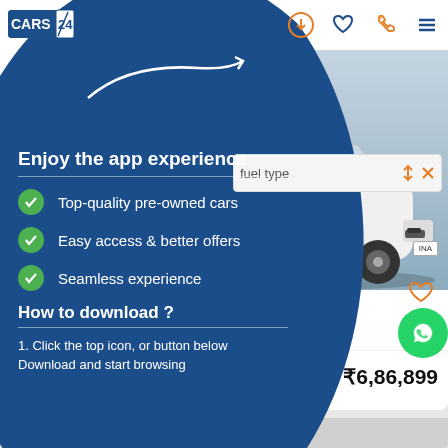[Figure (screenshot): CARS24 mobile app screenshot showing a promotional overlay panel with 'Enjoy the app experience' message, checklist items, download instructions, a car listing for Skoda Octavia Ambition 2.0 TDI priced at ₹6,86,899, and a DOWNLOAD NOW button]
Enjoy the app experience
Top-quality pre-owned cars
Easy access & better offers
Seamless experience
How to download ?
1. Click the top icon, or button below
Download and start browsing
fuel type
ITION 2.0 TDI
Diesel
HR-26
DOWNLOAD NOW
₹6,86,899
Zero Down Payment